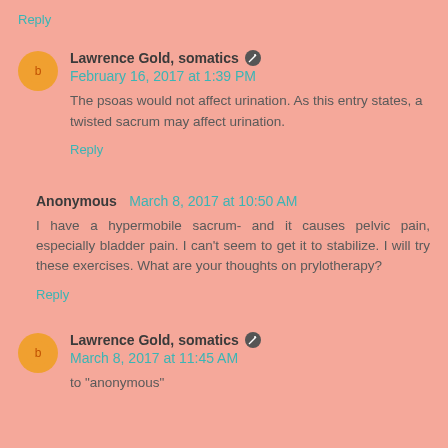Reply
Lawrence Gold, somatics  February 16, 2017 at 1:39 PM
The psoas would not affect urination. As this entry states, a twisted sacrum may affect urination.
Reply
Anonymous  March 8, 2017 at 10:50 AM
I have a hypermobile sacrum- and it causes pelvic pain, especially bladder pain. I can't seem to get it to stabilize. I will try these exercises. What are your thoughts on prylotherapy?
Reply
Lawrence Gold, somatics  March 8, 2017 at 11:45 AM
to "anonymous"